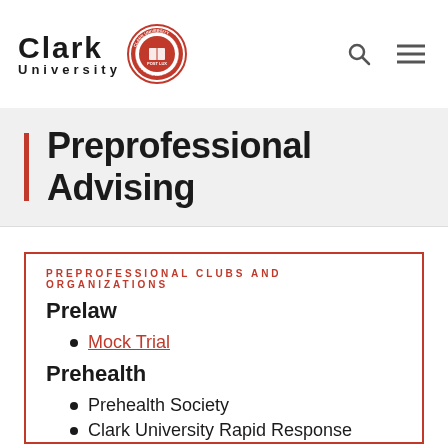Clark University
Preprofessional Advising
PREPROFESSIONAL CLUBS AND ORGANIZATIONS
Prelaw
Mock Trial
Prehealth
Prehealth Society
Clark University Rapid Response
3/2 Engineering